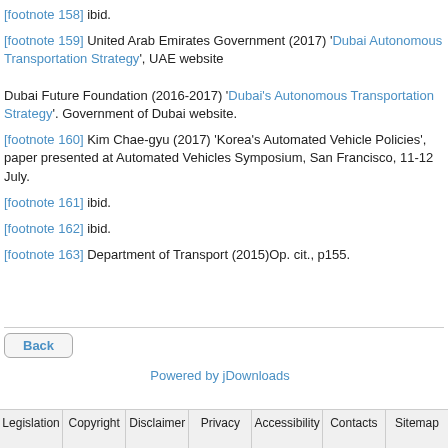[footnote 158] ibid.
[footnote 159] United Arab Emirates Government (2017) 'Dubai Autonomous Transportation Strategy', UAE website

Dubai Future Foundation (2016-2017) 'Dubai's Autonomous Transportation Strategy'. Government of Dubai website.
[footnote 160] Kim Chae-gyu (2017) 'Korea's Automated Vehicle Policies', paper presented at Automated Vehicles Symposium, San Francisco, 11-12 July.
[footnote 161] ibid.
[footnote 162] ibid.
[footnote 163] Department of Transport (2015)Op. cit., p155.
Back
Powered by jDownloads
Legislation | Copyright | Disclaimer | Privacy | Accessibility | Contacts | Sitemap